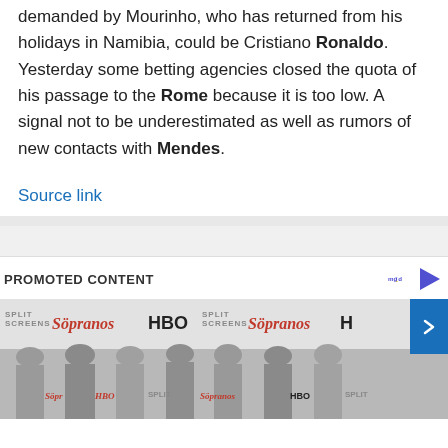demanded by Mourinho, who has returned from his holidays in Namibia, could be Cristiano Ronaldo. Yesterday some betting agencies closed the quota of his passage to the Rome because it is too low. A signal not to be underestimated as well as rumors of new contacts with Mendes.
Source link
PROMOTED CONTENT
[Figure (photo): Photo strip showing people at a Sopranos / HBO Split Screens event, with repeated logos for The Sopranos, HBO, and Split Screens festival visible on a step-and-repeat banner in the background.]